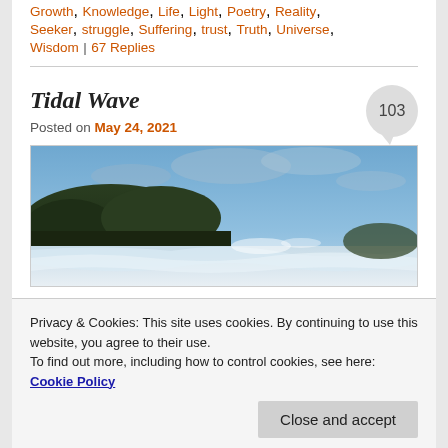Growth, Knowledge, Life, Light, Poetry, Reality, Seeker, struggle, Suffering, trust, Truth, Universe, Wisdom | 67 Replies
Tidal Wave
Posted on May 24, 2021
[Figure (photo): A coastal scene with ocean waves crashing and trees in the background against a blue cloudy sky.]
Privacy & Cookies: This site uses cookies. By continuing to use this website, you agree to their use.
To find out more, including how to control cookies, see here: Cookie Policy
Close and accept